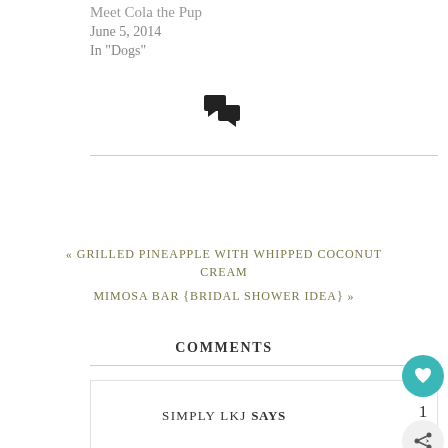Meet Cola the Pup
June 5, 2014
In "Dogs"
[Figure (illustration): Two speech bubble / comment icons in black]
« GRILLED PINEAPPLE WITH WHIPPED COCONUT CREAM
MIMOSA BAR {BRIDAL SHOWER IDEA} »
COMMENTS
SIMPLY LKJ SAYS